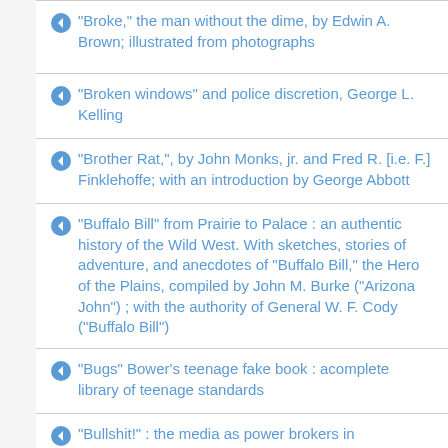"Broke," the man without the dime, by Edwin A. Brown; illustrated from photographs
"Broken windows" and police discretion, George L. Kelling
"Brother Rat,", by John Monks, jr. and Fred R. [i.e. F.] Finklehoffe; with an introduction by George Abbott
"Buffalo Bill" from Prairie to Palace : an authentic history of the Wild West. With sketches, stories of adventure, and anecdotes of "Buffalo Bill," the Hero of the Plains, compiled by John M. Burke ("Arizona John") ; with the authority of General W. F. Cody ("Buffalo Bill")
"Bugs" Bower's teenage fake book : acomplete library of teenage standards
"Bullshit!" : the media as power brokers in presidential elections, by Jeffrey Gale
"Burbonskaîa liliia" grafa Alekseîa Tolstogo : chetvortaîa zhono îl krî Okl︠i︡anskiî